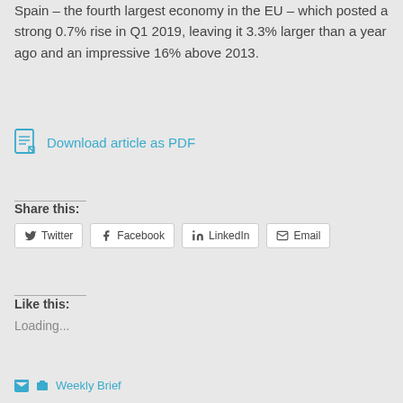Spain – the fourth largest economy in the EU – which posted a strong 0.7% rise in Q1 2019, leaving it 3.3% larger than a year ago and an impressive 16% above 2013.
Download article as PDF
Share this:
Twitter  Facebook  LinkedIn  Email
Like this:
Loading...
Weekly Brief